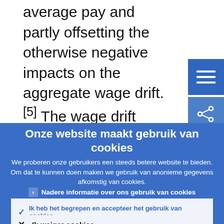average pay and partly offsetting the otherwise negative impacts on the aggregate wage drift.[5] The wage drift signals the downward pressure that may
[Figure (screenshot): Blue hamburger menu button in top right corner]
[Figure (screenshot): Blue share/network icon button below menu button]
Onze website maakt gebruik van cookies
We proberen onze gebruikers een steeds betere website te bieden. Om dat te kunnen doen maken we gebruik van anonieme gegevens afkomstig van cookies.
Nadere informatie over ons gebruik van cookies
Ik heb het begrepen en accepteer het gebruik van cookies
Ik weiger cookies